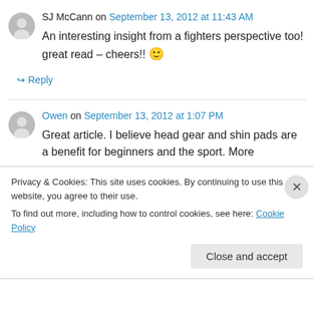SJ McCann on September 13, 2012 at 11:43 AM
An interesting insight from a fighters perspective too! great read – cheers!! 🙂
↪ Reply
Owen on September 13, 2012 at 1:07 PM
Great article. I believe head gear and shin pads are a benefit for beginners and the sport. More
Privacy & Cookies: This site uses cookies. By continuing to use this website, you agree to their use. To find out more, including how to control cookies, see here: Cookie Policy
Close and accept